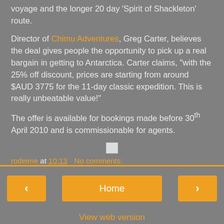voyage and the longer 20 day 'Spirit of Shackleton' route.
Director of Chimu Adventures, Greg Carter, believes the deal gives people the opportunity to pick up a real bargain in getting to Antarctica. Carter claims, "with the 25% off discount, prices are starting from around $AUD 3775 for the 11-day classic expedition. This is really unbeatable value!"
The offer is available for bookings made before 30th April 2010 and is commissionable for agents.
rodeime at 10:13   No comments:
Home
View web version
Powered by Blogger.